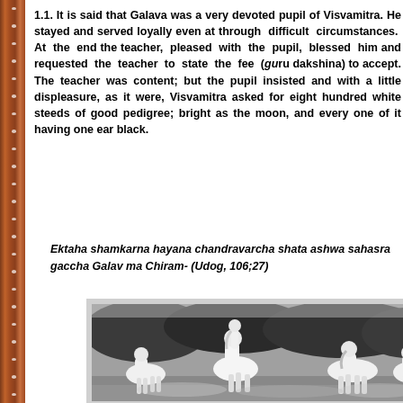1.1. It is said that Galava was a very devoted pupil of Visvamitra. He stayed and served loyally even through difficult circumstances. At the end teacher, pleased with the pupil, blessed him requested the teacher to state the fee (gu accept. The teacher was content; but the pup with a little displeasure, as it were, Visvamitra eight hundred white steeds of good pedigree; moon, and every one of it having one ear black
Ektaha shamkarna hayana chandravarch gaccha Galav ma Chiram- (Udog, 106;27)
[Figure (photo): Black and white photograph of white horses running, appearing to be galloping through water or mist with trees in the background.]